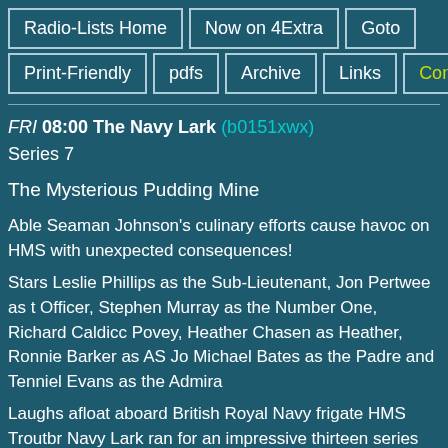Radio-Lists Home | Now on 4Extra | Goto | Print-Friendly | pdfs | Archive | Links | Contact
FRI 08:00 The Navy Lark (b0151xwx)
Series 7
The Mysterious Pudding Mine
Able Seaman Johnson's culinary efforts cause havoc on HMS with unexpected consequences!
Stars Leslie Phillips as the Sub-Lieutenant, Jon Pertwee as the Officer, Stephen Murray as the Number One, Richard Caldicot Povey, Heather Chasen as Heather, Ronnie Barker as AS Jo Michael Bates as the Padre and Tenniel Evans as the Admiral
Laughs afloat aboard British Royal Navy frigate HMS Troutbr Navy Lark ran for an impressive thirteen series between 1959
Scripted by Lawrie Wyman